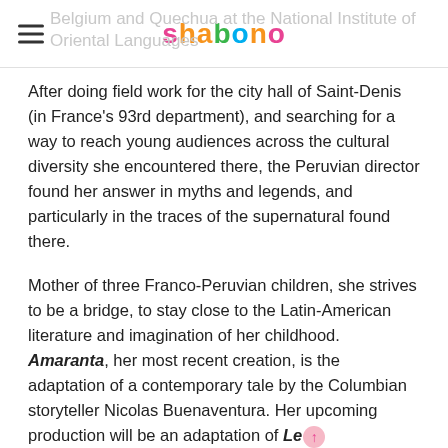Belgium and Quechua at the National Institute of Oriental Languages — shabono
After doing field work for the city hall of Saint-Denis (in France's 93rd department), and searching for a way to reach young audiences across the cultural diversity she encountered there, the Peruvian director found her answer in myths and legends, and particularly in the traces of the supernatural found there.
Mother of three Franco-Peruvian children, she strives to be a bridge, to stay close to the Latin-American literature and imagination of her childhood. Amaranta, her most recent creation, is the adaptation of a contemporary tale by the Columbian storyteller Nicolas Buenaventura. Her upcoming production will be an adaptation of Le Play des Abeilles (The Play of Bees), written by